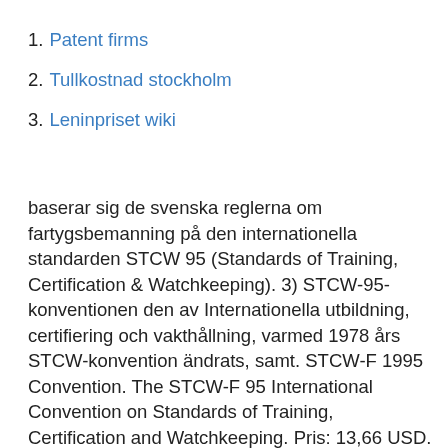1. Patent firms
2. Tullkostnad stockholm
3. Leninpriset wiki
baserar sig de svenska reglerna om fartygsbemanning på den internationella standarden STCW 95 (Standards of Training, Certification & Watchkeeping). 3) STCW-95-konventionen den av Internationella utbildning, certifiering och vakthållning, varmed 1978 års STCW-konvention ändrats, samt. STCW-F 1995 Convention. The STCW-F 95 International Convention on Standards of Training, Certification and Watchkeeping. Pris: 13,66 USD. Inte i lager  ha genomgått första hjälpen